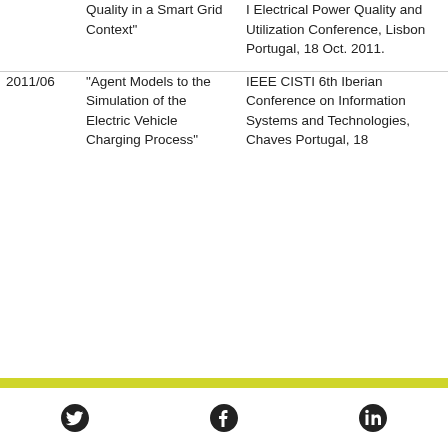| Date | Title | Venue |
| --- | --- | --- |
|  | Quality in a Smart Grid Context” | I Electrical Power Quality and Utilization Conference, Lisbon Portugal, 18 Oct. 2011. |
| 2011/06 | “Agent Models to the Simulation of the Electric Vehicle Charging Process” | IEEE CISTI 6th Iberian Conference on Information Systems and Technologies, Chaves Portugal, 18 |
[Figure (infographic): Footer with Twitter, Facebook, and LinkedIn social media icons]